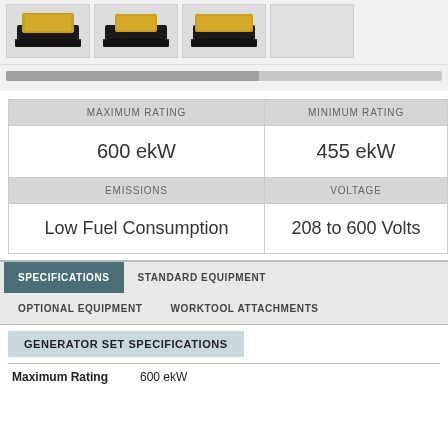[Figure (photo): Four thumbnail images of CAT generator sets on black bases]
| MAXIMUM RATING | MINIMUM RATING |
| --- | --- |
| 600 ekW | 455 ekW |
| EMISSIONS | VOLTAGE |
| Low Fuel Consumption | 208 to 600 Volts |
SPECIFICATIONS
STANDARD EQUIPMENT
OPTIONAL EQUIPMENT
WORKTOOL ATTACHMENTS
GENERATOR SET SPECIFICATIONS
Maximum Rating   600 ekW